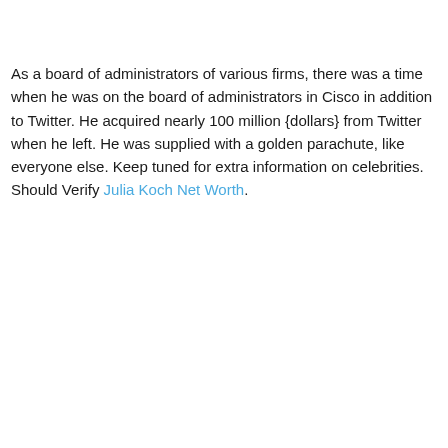As a board of administrators of various firms, there was a time when he was on the board of administrators in Cisco in addition to Twitter. He acquired nearly 100 million {dollars} from Twitter when he left. He was supplied with a golden parachute, like everyone else. Keep tuned for extra information on celebrities. Should Verify Julia Koch Net Worth.